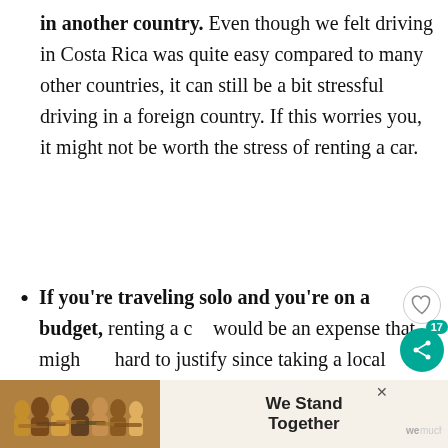in another country. Even though we felt driving in Costa Rica was quite easy compared to many other countries, it can still be a bit stressful driving in a foreign country. If this worries you, it might not be worth the stress of renting a car.
If you're traveling solo and you're on a budget, renting a car would be an expense that might be hard to justify since taking a local
[Figure (infographic): Advertisement banner at bottom of page showing people with arms around each other, with text 'We Stand Together' and a close button. Logo partially visible on right side.]